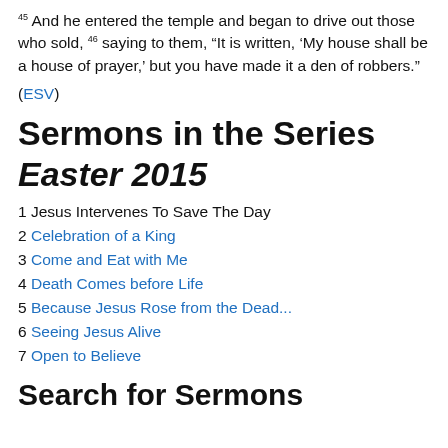45 And he entered the temple and began to drive out those who sold, 46 saying to them, “It is written, ‘My house shall be a house of prayer,’ but you have made it a den of robbers.”
(ESV)
Sermons in the Series Easter 2015
1 Jesus Intervenes To Save The Day
2 Celebration of a King
3 Come and Eat with Me
4 Death Comes before Life
5 Because Jesus Rose from the Dead...
6 Seeing Jesus Alive
7 Open to Believe
Search for Sermons